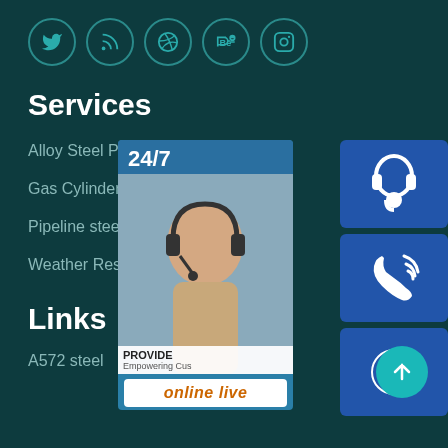[Figure (infographic): Row of 5 social media icons in teal circles: Twitter, RSS, Dribbble, Behance, Instagram]
Services
Alloy Steel Plate
Gas Cylinder Steel coil
Pipeline steel plate
Weather Resistant Steel Plate
[Figure (infographic): Customer service widget panel showing 24/7 support image with headset icon, phone icon, Skype icon, and 'online live' button]
Links
A572 steel